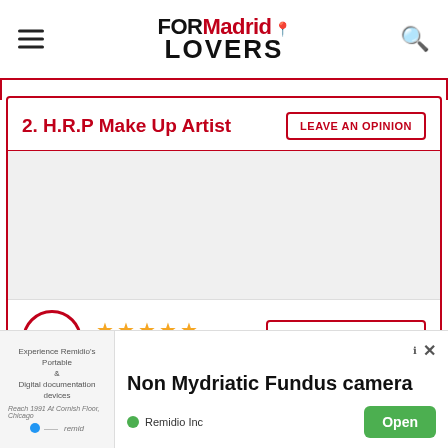FORMadrid LOVERS
2. H.R.P Make Up Artist
[Figure (photo): Photo area for H.R.P Make Up Artist listing]
5  ★★★★★  48 reviews
[Figure (screenshot): Advertisement banner: Non Mydriatic Fundus camera by Remidio Inc with Open button]